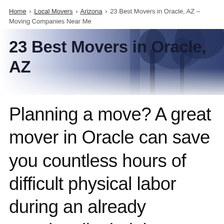Home > Local Movers > Arizona > 23 Best Movers in Oracle, AZ – Moving Companies Near Me
[Figure (photo): Blue-toned banner image with title '23 Best Movers in Oracle, AZ' overlaid on a blurred dark blue background with abstract tree/nature silhouettes]
23 Best Movers in Oracle, AZ
Planning a move? A great mover in Oracle can save you countless hours of difficult physical labor during an already emotionally draining